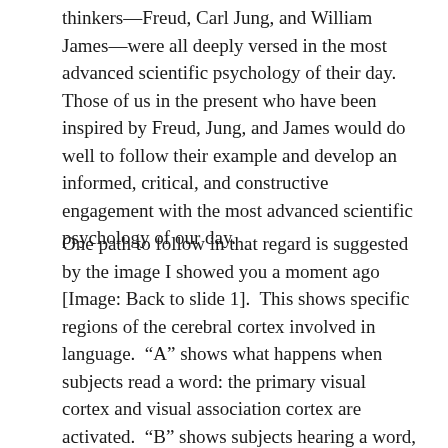thinkers—Freud, Carl Jung, and William James—were all deeply versed in the most advanced scientific psychology of their day.  Those of us in the present who have been inspired by Freud, Jung, and James would do well to follow their example and develop an informed, critical, and constructive engagement with the most advanced scientific psychology of our day.
One path to follow in that regard is suggested by the image I showed you a moment ago [Image: Back to slide 1].  This shows specific regions of the cerebral cortex involved in language.  "A" shows what happens when subjects read a word: the primary visual cortex and visual association cortex are activated.  "B" shows subjects hearing a word, with activation in the temporal cortex and at the junction of the temporal-parietal cortex.  "C" shows subjects speaking a word, which activates Broca's area in the medial frontal cortex.  "D" shows what happens when